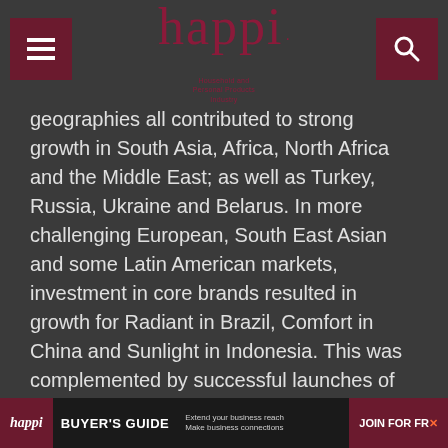happi — Household and Personal Products Industry
geographies all contributed to strong growth in South Asia, Africa, North Africa and the Middle East; as well as Turkey, Russia, Ukraine and Belarus. In more challenging European, South East Asian and some Latin American markets, investment in core brands resulted in growth for Radiant in Brazil, Comfort in China and Sunlight in Indonesia. This was complemented by successful launches of Surf laundry detergents and Sunlight Dishwashing tablets in Central and Eastern Europe, combined with the continued success of Domestos toilet blocks in Europe and liquid laundry detergents in South East Asia.
The 2017 acquisition of Quala SA, a home care and personal care company, will add brands in north Latin America. Consistent with Unilever's Connected 4 Growth
happi BUYER'S GUIDE — Extend your business reach Make business connections — JOIN FOR FREE